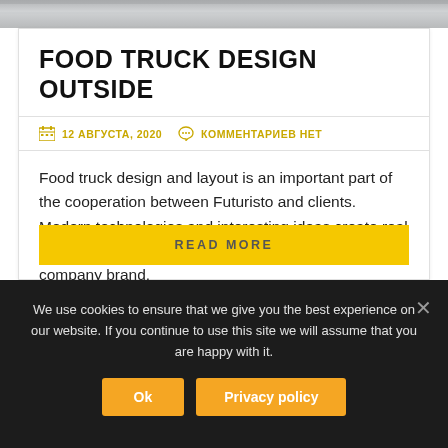[Figure (photo): Top photo strip showing a food truck exterior surface]
FOOD TRUCK DESIGN OUTSIDE
12 АВГУСТА, 2020   КОММЕНТАРИЕВ НЕТ
Food truck design and layout is an important part of the cooperation between Futuristo and clients. Modern technologies and interesting ideas create real artwork. We keep the food truck design in line with a company brand.
READ MORE
We use cookies to ensure that we give you the best experience on our website. If you continue to use this site we will assume that you are happy with it.
Ok
Privacy policy